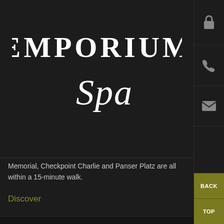[Figure (logo): Emporium Spa logo — EMPORIUM in large serif uppercase white letters, with 'Spa' in cursive/script white below, on dark background]
Memorial, Checkpoint Charlie and Panser Platz are all within a 15-minute walk.
Discover
[Figure (logo): Emporium Collection logo — EMPORIUM in large serif uppercase white letters with 'RI' in gold/olive color, and 'Collection' in script/cursive silver-grey below, on dark background]
[Figure (screenshot): Right sidebar with lock icon, phone icon, envelope icon, and two olive/gold buttons labeled BACK and TOP]